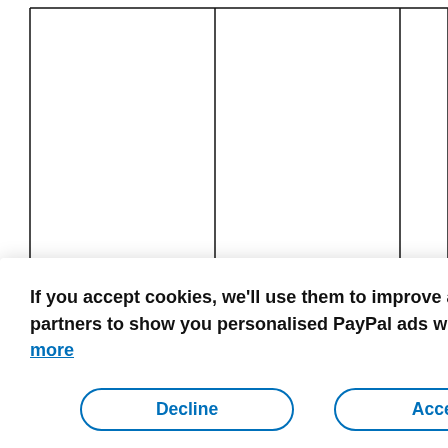[Figure (screenshot): Background showing a table/grid with vertical black lines visible above the cookie consent overlay]
If you accept cookies, we'll use them to improve and customise your experience and enable our partners to show you personalised PayPal ads when you visit other sites. Manage cookies and learn more
Decline
Accept